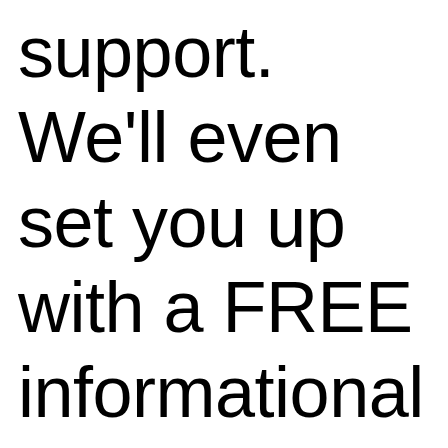support. We'll even set you up with a FREE informational website like this one, and